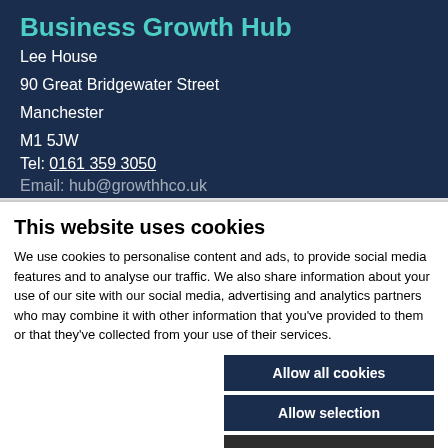Business Growth Hub
Lee House
90 Great Bridgewater Street
Manchester
M1 5JW
Tel: 0161 359 3050
Email: hub@growthhco.uk
This website uses cookies
We use cookies to personalise content and ads, to provide social media features and to analyse our traffic. We also share information about your use of our site with our social media, advertising and analytics partners who may combine it with other information that you've provided to them or that they've collected from your use of their services.
Allow all cookies
Allow selection
Use necessary cookies only
Necessary  Preferences  Statistics  Marketing  Show details